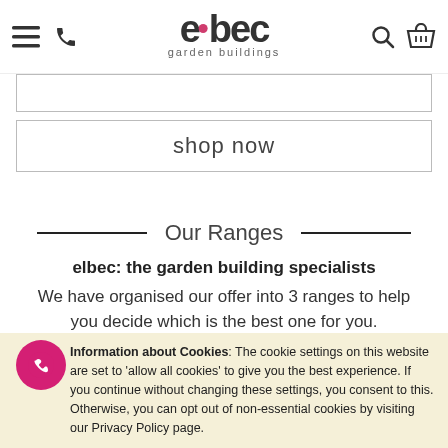elbec garden buildings
shop now
Our Ranges
elbec: the garden building specialists
We have organised our offer into 3 ranges to help you decide which is the best one for you.
Pricewise, Popular & Premium; all offer great value for
Information about Cookies: The cookie settings on this website are set to 'allow all cookies' to give you the best experience. If you continue without changing these settings, you consent to this. Otherwise, you can opt out of non-essential cookies by visiting our Privacy Policy page.